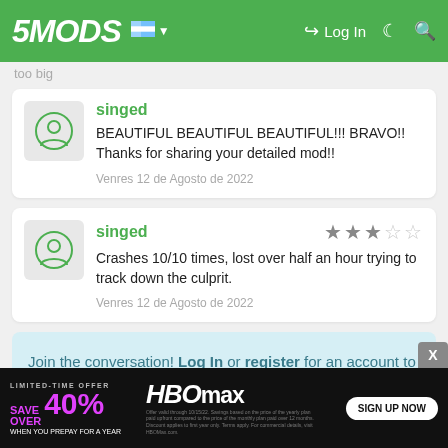5MODS — Log In
too big
singed
BEAUTIFUL BEAUTIFUL BEAUTIFUL!!! BRAVO!!
Thanks for sharing your detailed mod!!
Venres 12 de Agosto de 2022
singed
Crashes 10/10 times, lost over half an hour trying to track down the culprit.
Venres 12 de Agosto de 2022
Join the conversation! Log In or register for an account to be able to comment.
More mods by Landroi:
[Figure (screenshot): HBO Max advertisement banner: LIMITED-TIME OFFER SAVE OVER 40% WHEN YOU PREPAY FOR A YEAR, with HBO max logo and SIGN UP NOW button]